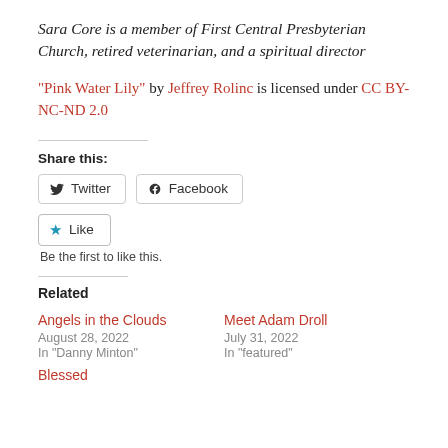Sara Core is a member of First Central Presbyterian Church, retired veterinarian, and a spiritual director
"Pink Water Lily" by Jeffrey Rolinc is licensed under CC BY-NC-ND 2.0
Share this:
Twitter  Facebook
Like  Be the first to like this.
Related
Angels in the Clouds
August 28, 2022
In "Danny Minton"
Meet Adam Droll
July 31, 2022
In "featured"
Blessed